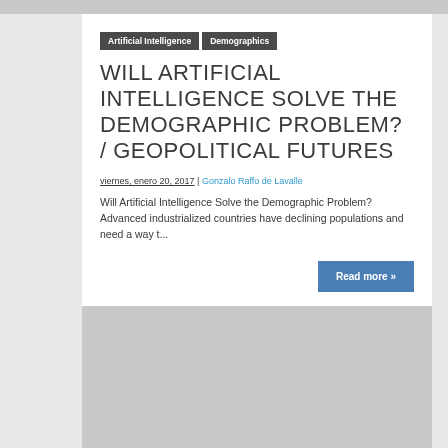Artificial Intelligence
Demographics
WILL ARTIFICIAL INTELLIGENCE SOLVE THE DEMOGRAPHIC PROBLEM? / GEOPOLITICAL FUTURES
viernes, enero 20, 2017 | Gonzalo Raffo de Lavalle
Will Artificial Intelligence Solve the Demographic Problem? Advanced industrialized countries have declining populations and need a way t...
Read more »
[Figure (photo): Gray placeholder image block at the bottom of the page]